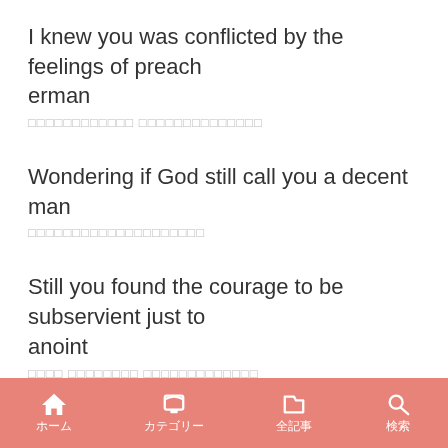I knew you was conflicted by the feelings of preacherman
□□□□□□□□□□□□ □□□□□□□□□□□□□□
Wondering if God still call you a decent man
□□□□□□□□□□□□□□□□□□□□
Still you found the courage to be subservient just to anoint
□□□□ □□□□□□□□ □□□□□□□□□□□□□
Until he singled you out to prove his point, saying
□□□□□□□□□□□□□□ □□□□□□□□□□
ホーム カテゴリー 全記事 検索